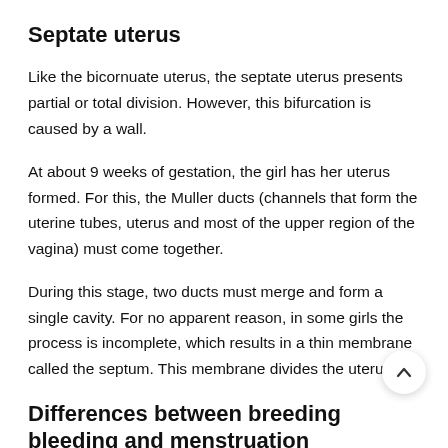Septate uterus
Like the bicornuate uterus, the septate uterus presents partial or total division. However, this bifurcation is caused by a wall.
At about 9 weeks of gestation, the girl has her uterus formed. For this, the Muller ducts (channels that form the uterine tubes, uterus and most of the upper region of the vagina) must come together.
During this stage, two ducts must merge and form a single cavity. For no apparent reason, in some girls the process is incomplete, which results in a thin membrane called the septum. This membrane divides the uterus.
Differences between breeding bleeding and menstruation